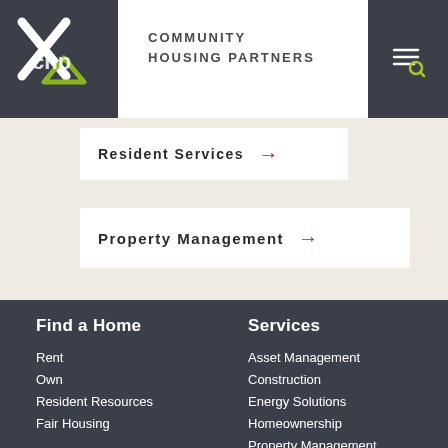COMMUNITY HOUSING PARTNERS
Resident Services →
Property Management →
Find a Home
Rent
Own
Resident Resources
Fair Housing
Services
Asset Management
Construction
Energy Solutions
Homeownership
Property Management
Real Estate Development